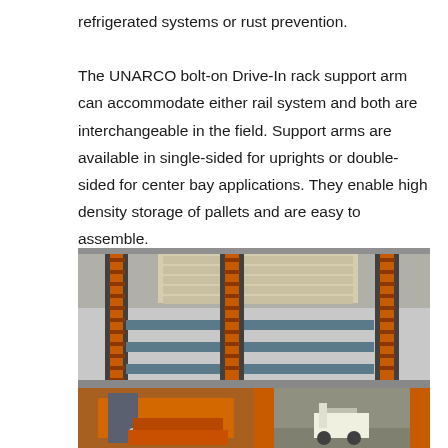refrigerated systems or rust prevention.

The UNARCO bolt-on Drive-In rack support arm can accommodate either rail system and both are interchangeable in the field. Support arms are available in single-sided for uprights or double-sided for center bay applications. They enable high density storage of pallets and are easy to assemble.
[Figure (photo): Large photo of UNARCO Drive-In rack system showing orange upright frames with bolt-on support arms and pallets stored in the rack system in a warehouse. Below are two smaller detail photos: one showing a close-up of the orange bolt-on support arm base hardware, and another showing a wider view of the rack aisle with a forklift visible.]